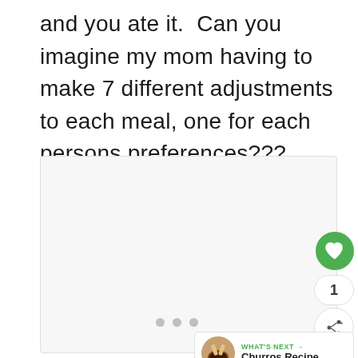and you ate it.  Can you imagine my mom having to make 7 different adjustments to each meal, one for each persons preferences???
[Figure (screenshot): A light gray card/image area with three navigation dots at bottom center, a green heart/like button on the right side showing count of 1, a share button below it, and a 'What's Next' banner showing Churros Recipe... with thumbnail image.]